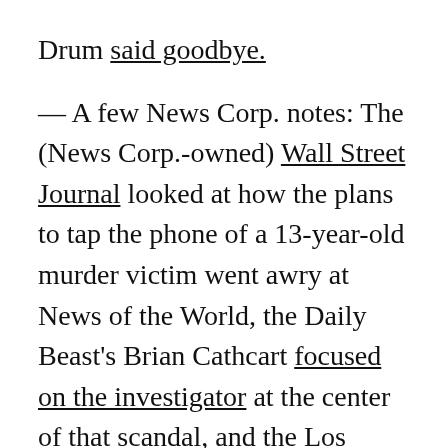Drum said goodbye.
— A few News Corp. notes: The (News Corp.-owned) Wall Street Journal looked at how the plans to tap the phone of a 13-year-old murder victim went awry at News of the World, the Daily Beast's Brian Cathcart focused on the investigator at the center of that scandal, and the Los Angeles Times' Joe Flint looked at News Corp.'s influence-peddling game here in the U.S.
— Two posts to leave you with: Maria Popova's fantastic post here at the Lab on the new rarity in the information abundance of the web, and some more great advice for journalism students from the Online Journalism Review's Robert